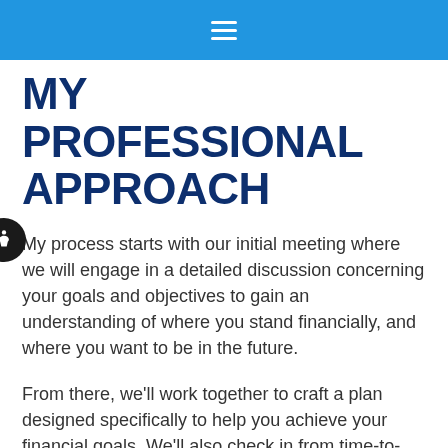MY PROFESSIONAL APPROACH
My process starts with our initial meeting where we will engage in a detailed discussion concerning your goals and objectives to gain an understanding of where you stand financially, and where you want to be in the future.
From there, we'll work together to craft a plan designed specifically to help you achieve your financial goals. We'll also check in from time-to-time to see how you're doing and make any adjustments necessary.
MY BACKGROUND